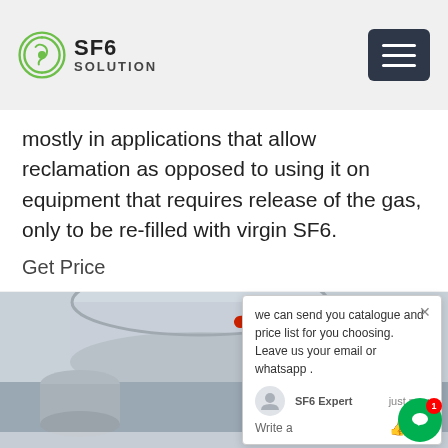SF6 SOLUTION
mostly in applications that allow reclamation as opposed to using it on equipment that requires release of the gas, only to be re-filled with virgin SF6.
Get Price
[Figure (photo): Industrial SF6 gas equipment/infrastructure with cylindrical tanks and pipes, worker in blue protective gear visible, snowy environment]
we can send you catalogue and price list for you choosing. Leave us your email or whatsapp .
SF6 Expert    just now
Write a